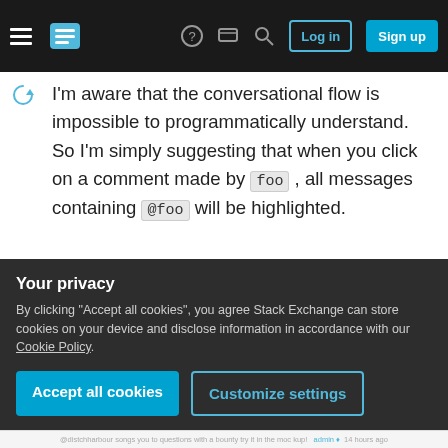Stack Exchange navigation bar with Log in and Sign up buttons
I'm aware that the conversational flow is impossible to programmatically understand. So I'm simply suggesting that when you click on a comment made by foo , all messages containing @foo will be highlighted.
Below is an example of what I'm talking about. Here I've clicked on the comment from hichris123. The selected comment is ringed in colour, with the replies to that user highlighted beneath.
Your privacy
By clicking "Accept all cookies", you agree Stack Exchange can store cookies on your device and disclose information in accordance with our Cookie Policy.
Accept all cookies
Customize settings